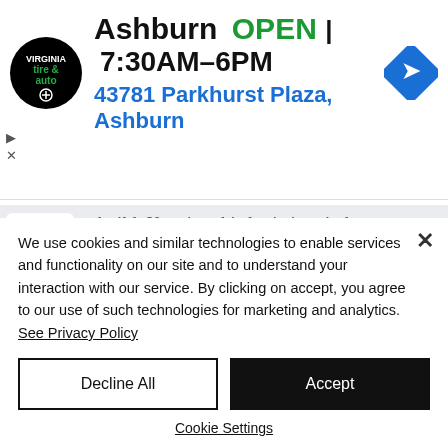[Figure (screenshot): Advertisement banner for Virginia Tire & Auto Ashburn location showing logo, OPEN status, hours 7:30AM-6PM, address 43781 Parkhurst Plaza Ashburn, and navigation icon]
build. Keeping this logic in mind ...
Enter the medical genius that is Dr. Oz.
It's no secret that Oz has come under
We use cookies and similar technologies to enable services and functionality on our site and to understand your interaction with our service. By clicking on accept, you agree to our use of such technologies for marketing and analytics. See Privacy Policy
Decline All
Accept
Cookie Settings